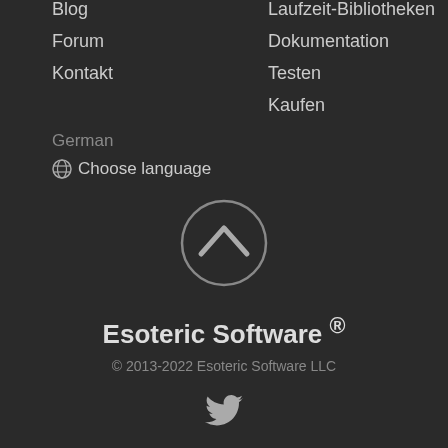Blog
Forum
Kontakt
Laufzeit-Bibliotheken
Dokumentation
Testen
Kaufen
German
🌐 Choose language
[Figure (illustration): Circular back-to-top button with upward chevron arrow, grey outline on dark background]
Esoteric Software ®
© 2013-2022 Esoteric Software LLC
[Figure (logo): Twitter bird icon in grey]